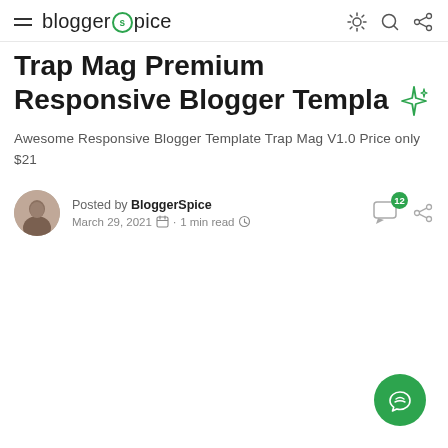bloggerspice
Trap Mag Premium Responsive Blogger Templa
Awesome Responsive Blogger Template Trap Mag V1.0 Price only $21
Posted by BloggerSpice
March 29, 2021 · 1 min read